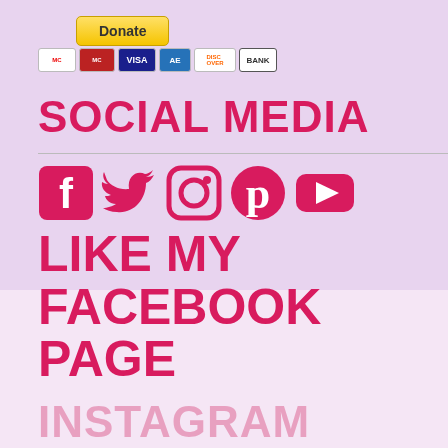[Figure (other): Donate button with PayPal-style yellow gradient and payment card icons (MasterCard, Visa, American Express, Discover, Bank)]
SOCIAL MEDIA
[Figure (infographic): Social media icons: Facebook, Twitter, Instagram, Pinterest, YouTube — all in pink/crimson color]
LIKE MY FACEBOOK PAGE
INSTAGRAM